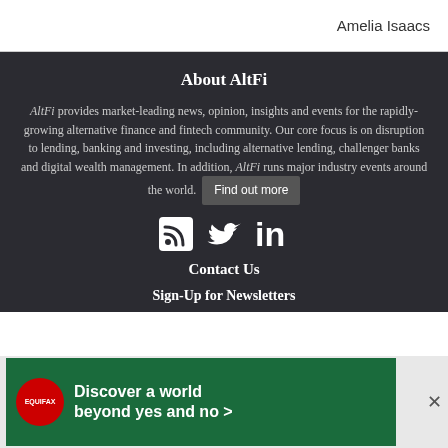Amelia Isaacs
About AltFi
AltFi provides market-leading news, opinion, insights and events for the rapidly-growing alternative finance and fintech community. Our core focus is on disruption to lending, banking and investing, including alternative lending, challenger banks and digital wealth management. In addition, AltFi runs major industry events around the world. Find out more
[Figure (infographic): Social media icons: RSS feed, Twitter, LinkedIn]
Contact Us
Sign-Up for Newsletters
[Figure (infographic): Equifax advertisement banner: logo circle with EQUIFAX text, green background, text reads 'Discover a world beyond yes and no >' with close button X]